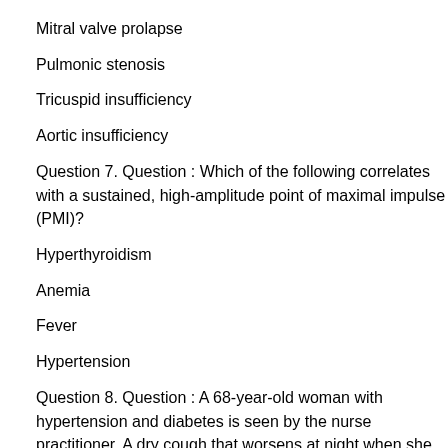Mitral valve prolapse
Pulmonic stenosis
Tricuspid insufficiency
Aortic insufficiency
Question 7. Question : Which of the following correlates with a sustained, high-amplitude point of maximal impulse (PMI)?
Hyperthyroidism
Anemia
Fever
Hypertension
Question 8. Question : A 68-year-old woman with hypertension and diabetes is seen by the nurse practitioner. A dry cough that worsens at night when she lies in bed. She has shortness of breath, which worsens when she exerts